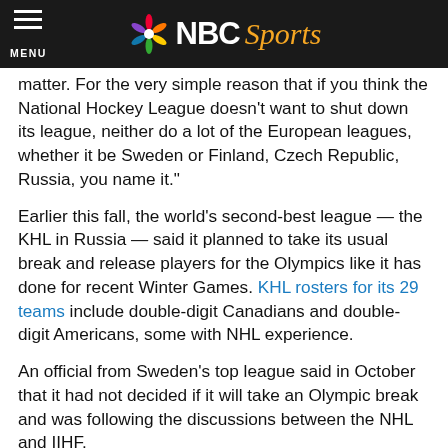NBC Sports
matter. For the very simple reason that if you think the National Hockey League doesn't want to shut down its league, neither do a lot of the European leagues, whether it be Sweden or Finland, Czech Republic, Russia, you name it."
Earlier this fall, the world's second-best league — the KHL in Russia — said it planned to take its usual break and release players for the Olympics like it has done for recent Winter Games. KHL rosters for its 29 teams include double-digit Canadians and double-digit Americans, some with NHL experience.
An official from Sweden's top league said in October that it had not decided if it will take an Olympic break and was following the discussions between the NHL and IIHF.
Finland's top league said in October that it was planning to take a break in its season to send players to the